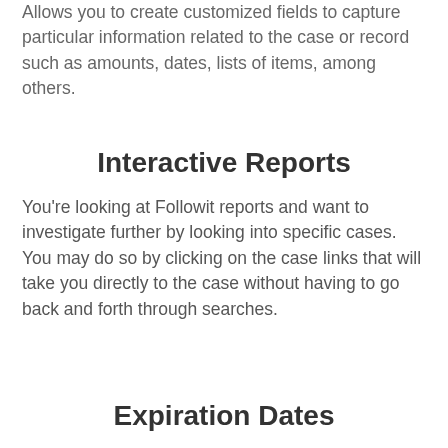Allows you to create customized fields to capture particular information related to the case or record such as amounts, dates, lists of items, among others.
Interactive Reports
You're looking at Followit reports and want to investigate further by looking into specific cases. You may do so by clicking on the case links that will take you directly to the case without having to go back and forth through searches.
Expiration Dates